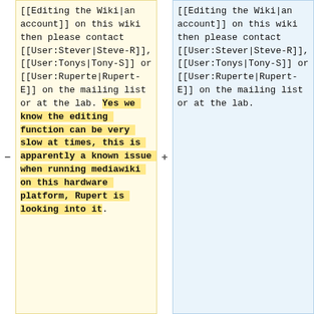[[Editing the Wiki|an account]] on this wiki then please contact [[User:Stever|Steve-R]], [[User:Tonys|Tony-S]] or [[User:Ruperte|Rupert-E]] on the mailing list or at the lab. Yes we know the editing function can be very slow at times, this is apparently a known issue when running mediawiki on this hardware platform, Rupert is looking into it.
[[Editing the Wiki|an account]] on this wiki then please contact [[User:Stever|Steve-R]], [[User:Tonys|Tony-S]] or [[User:Ruperte|Rupert-E]] on the mailing list or at the lab.